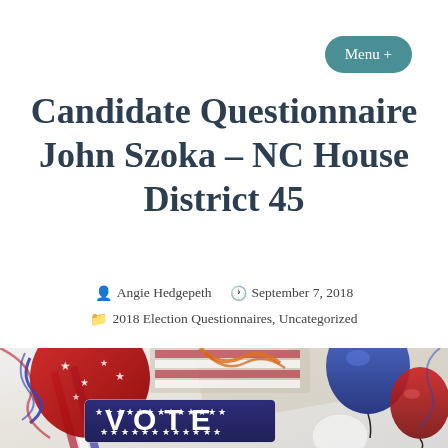Menu +
Candidate Questionnaire John Szoka – NC House District 45
Angie Hedgepeth  September 7, 2018  2018 Election Questionnaires, Uncategorized
[Figure (photo): Colorful election-themed photo showing a VOTE sign with red, white and blue balloons, stars, and streamers]